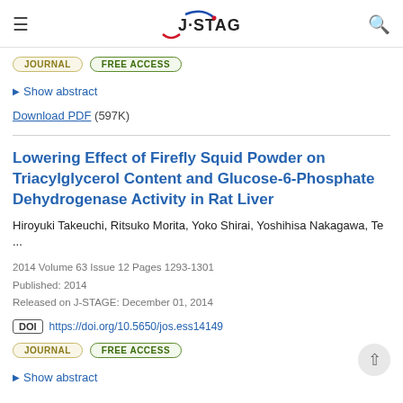J-STAGE
JOURNAL   FREE ACCESS
▶ Show abstract
Download PDF (597K)
Lowering Effect of Firefly Squid Powder on Triacylglycerol Content and Glucose-6-Phosphate Dehydrogenase Activity in Rat Liver
Hiroyuki Takeuchi, Ritsuko Morita, Yoko Shirai, Yoshihisa Nakagawa, Te ...
2014 Volume 63 Issue 12 Pages 1293-1301
Published: 2014
Released on J-STAGE: December 01, 2014
DOI https://doi.org/10.5650/jos.ess14149
JOURNAL   FREE ACCESS
▶ Show abstract